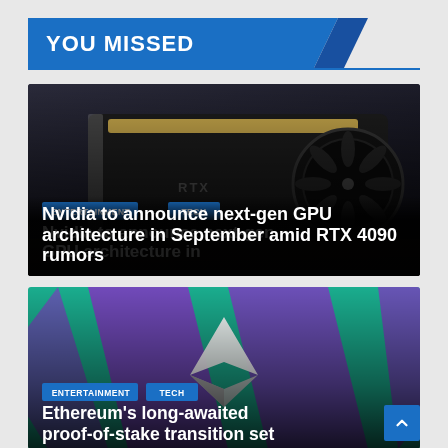YOU MISSED
[Figure (photo): Close-up of an Nvidia RTX graphics card (black, with gold stripe and large fan), dark background]
ENTERTAINMENT   TECH
Nvidia to announce next-gen GPU architecture in September amid RTX 4090 rumors
[Figure (photo): Teal/green background with large purple geometric Ethereum diamond logo shapes]
ENTERTAINMENT   TECH
Ethereum's long-awaited proof-of-stake transition set